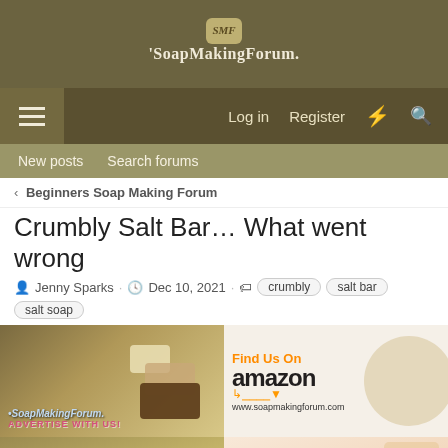SoapMakingForum
Log in  Register
New posts  Search forums
< Beginners Soap Making Forum
Crumbly Salt Bar… What went wrong
Jenny Sparks · Dec 10, 2021 · crumbly  salt bar  salt soap
[Figure (advertisement): SoapMakingForum Advertise With Us banner ad with soap images]
[Figure (advertisement): Find Us On Amazon - www.soapmakingforum.com ad with gift boxes]
[Figure (advertisement): Find Us On eBay ad with soap bars background]
[Figure (advertisement): PIFITO brand advertisement with soap products]
[Figure (advertisement): Walgreens Photo - Save On Sun Care Today banner advertisement]